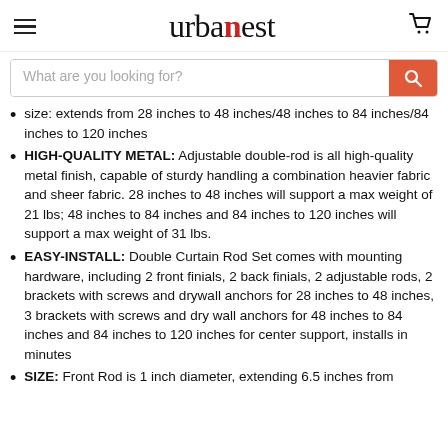urbanest
What are you looking for?
size: extends from 28 inches to 48 inches/48 inches to 84 inches/84 inches to 120 inches
HIGH-QUALITY METAL: Adjustable double-rod is all high-quality metal finish, capable of sturdy handling a combination heavier fabric and sheer fabric. 28 inches to 48 inches will support a max weight of 21 lbs; 48 inches to 84 inches and 84 inches to 120 inches will support a max weight of 31 lbs.
EASY-INSTALL: Double Curtain Rod Set comes with mounting hardware, including 2 front finials, 2 back finials, 2 adjustable rods, 2 brackets with screws and drywall anchors for 28 inches to 48 inches, 3 brackets with screws and dry wall anchors for 48 inches to 84 inches and 84 inches to 120 inches for center support, installs in minutes
SIZE: Front Rod is 1 inch diameter, extending 6.5 inches from